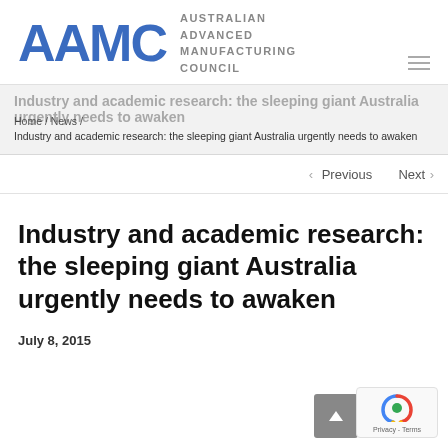[Figure (logo): AAMC - Australian Advanced Manufacturing Council logo, blue bold letters AAMC with grey uppercase text]
Industry and academic research: the sleeping giant Australia urgently needs to awaken
Home / News / Industry and academic research: the sleeping giant Australia urgently needs to awaken
< Previous   Next >
Industry and academic research: the sleeping giant Australia urgently needs to awaken
July 8, 2015